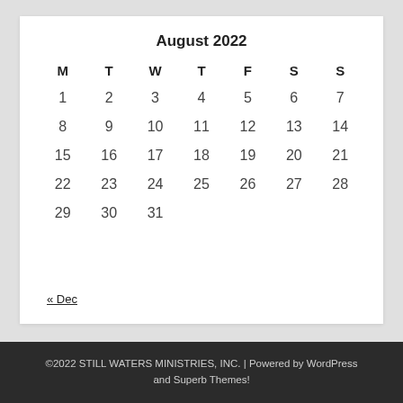August 2022
| M | T | W | T | F | S | S |
| --- | --- | --- | --- | --- | --- | --- |
| 1 | 2 | 3 | 4 | 5 | 6 | 7 |
| 8 | 9 | 10 | 11 | 12 | 13 | 14 |
| 15 | 16 | 17 | 18 | 19 | 20 | 21 |
| 22 | 23 | 24 | 25 | 26 | 27 | 28 |
| 29 | 30 | 31 |  |  |  |  |
« Dec
©2022 STILL WATERS MINISTRIES, INC. | Powered by WordPress and Superb Themes!